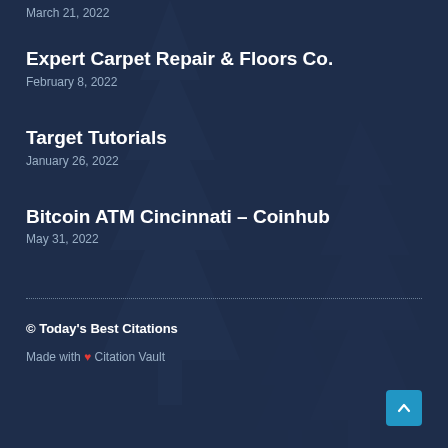Expert Carpet Repair & Floors Co.
February 8, 2022
Target Tutorials
January 26, 2022
Bitcoin ATM Cincinnati – Coinhub
May 31, 2022
© Today's Best Citations
Made with ❤ Citation Vault